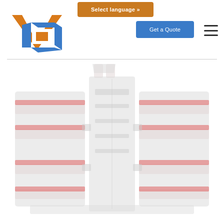[Figure (logo): VCP company logo with orange V and blue square spiral on white background]
Select language »
Get a Quote
[Figure (photo): Industrial injection mold tooling machine with red accents, shown in faded/watermark style, symmetrical design with two halves open]